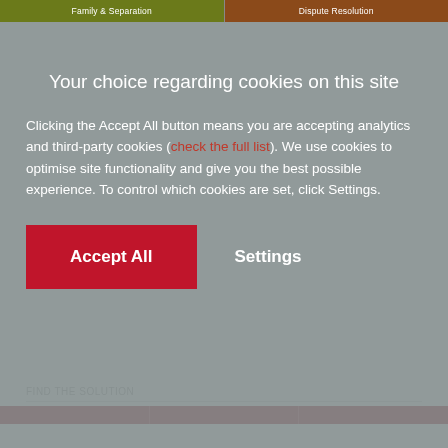Family & Separation | Dispute Resolution
Your choice regarding cookies on this site
Clicking the Accept All button means you are accepting analytics and third-party cookies (check the full list). We use cookies to optimise site functionality and give you the best possible experience. To control which cookies are set, click Settings.
Accept All | Settings